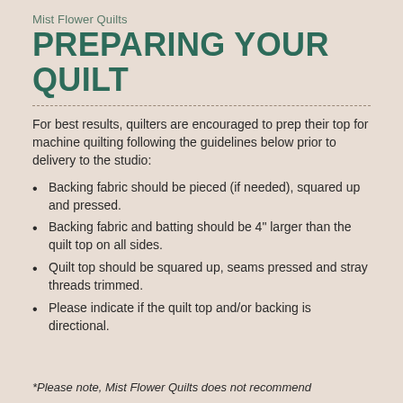Mist Flower Quilts
PREPARING YOUR QUILT
For best results, quilters are encouraged to prep their top for machine quilting following the guidelines below prior to delivery to the studio:
Backing fabric should be pieced (if needed), squared up and pressed.
Backing fabric and batting should be 4" larger than the quilt top on all sides.
Quilt top should be squared up, seams pressed and stray threads trimmed.
Please indicate if the quilt top and/or backing is directional.
*Please note, Mist Flower Quilts does not recommend